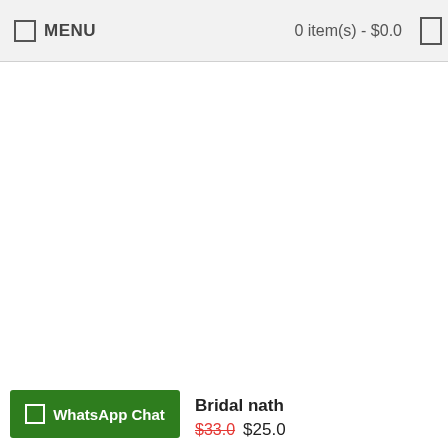MENU   0 item(s) - $0.0
[Figure (photo): Product image area (white/blank) for Bridal nath jewelry item]
Bridal nath
$33.0  $25.0
WhatsApp Chat